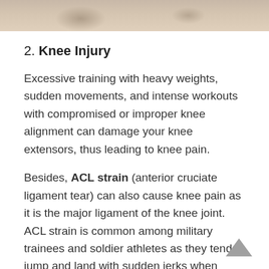[Figure (photo): Partial photo strip at top of page showing runners or people in motion outdoors, cropped to show only legs and ground.]
2. Knee Injury
Excessive training with heavy weights, sudden movements, and intense workouts with compromised or improper knee alignment can damage your knee extensors, thus leading to knee pain.
Besides, ACL strain (anterior cruciate ligament tear) can also cause knee pain as it is the major ligament of the knee joint. ACL strain is common among military trainees and soldier athletes as they tend to jump and land with sudden jerks when training or playing soccer or basketball.
Make sure you wear suitable sports shoes and avoid kneeling on hard surfaces without adequate